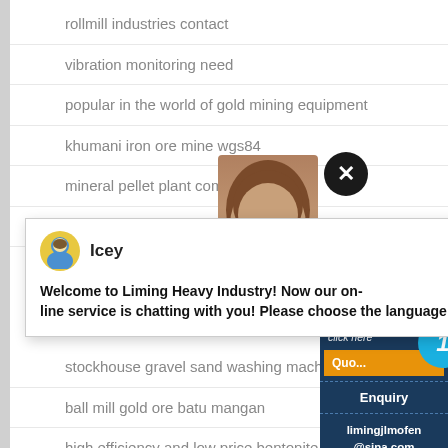rollmill industries contact
vibration monitoring need
popular in the world of gold mining equipment
khumani iron ore mine wgs84
mineral pellet plant commissioning
pe presyo ng mineral na pandurog ng mineral
[Figure (screenshot): Chat popup with avatar of 'Icey' and welcome message from Liming Heavy Industry]
stockhouse gravel sand washing machine for sale price
ball mill gold ore batu mangan
high efficiency and low price bentonite jaw crusher
on a ball mill what rockwell should the pinion be
cement grinding units in west bengal
mining in los angeles
crusher for limestone in cement
[Figure (screenshot): Right panel widget showing 'Have any requests, click here', Quote button, notification circle with 1, Enquiry section, and limingjlmofen@sina.com email]